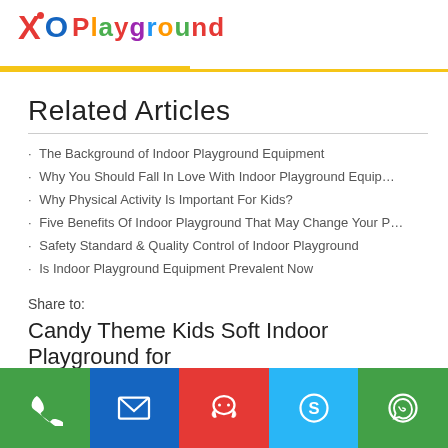XO Playground
Related Articles
The Background of Indoor Playground Equipment
Why You Should Fall In Love With Indoor Playground Equip…
Why Physical Activity Is Important For Kids?
Five Benefits Of Indoor Playground That May Change Your P…
Safety Standard & Quality Control of Indoor Playground
Is Indoor Playground Equipment Prevalent Now
Share to:
Candy Theme Kids Soft Indoor Playground for
[Figure (infographic): Bottom contact bar with 5 colored buttons: phone (green), email (blue), QQ/chat (red), Skype (light blue), WhatsApp (green)]